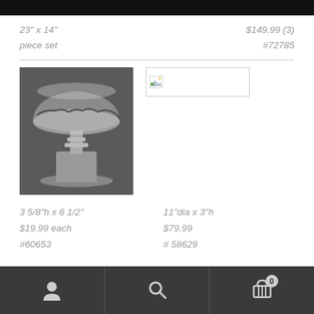[Figure (screenshot): Black top bar at the top of the page]
23" x 14"
piece set
$149.99 (3)
#72785
[Figure (photo): Photo of a clear glass pedestal compote/dish on a dark background]
[Figure (photo): Broken image placeholder icon]
3 5/8"h x 6 1/2"
$19.99 each
#60653
11"dia x 3"h
$79.99
# 58629
User icon | Search icon | Cart icon (0)